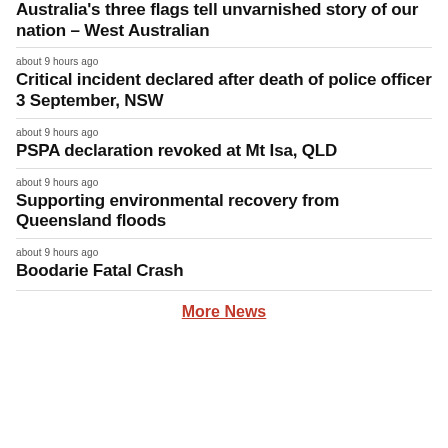Australia's three flags tell unvarnished story of our nation – West Australian
about 9 hours ago
Critical incident declared after death of police officer 3 September, NSW
about 9 hours ago
PSPA declaration revoked at Mt Isa, QLD
about 9 hours ago
Supporting environmental recovery from Queensland floods
about 9 hours ago
Boodarie Fatal Crash
More News